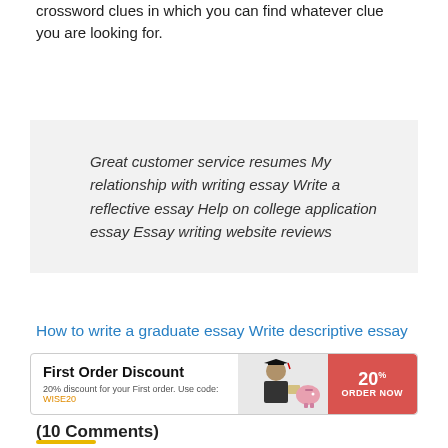crossword clues in which you can find whatever clue you are looking for.
Great customer service resumes My relationship with writing essay Write a reflective essay Help on college application essay Essay writing website reviews
How to write a graduate essay Write descriptive essay
[Figure (infographic): First Order Discount banner: 20% discount for your First order. Use code: WISE20. Shows graduate student and piggy bank image. Red button: 20% ORDER NOW.]
(10 Comments)
[Figure (photo): Avatar photo of a person with light hair.]